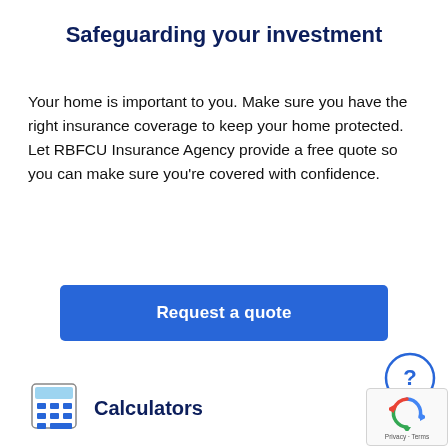Safeguarding your investment
Your home is important to you. Make sure you have the right insurance coverage to keep your home protected. Let RBFCU Insurance Agency provide a free quote so you can make sure you're covered with confidence.
[Figure (other): Blue button labeled 'Request a quote']
[Figure (other): Blue circle with question mark help icon]
[Figure (other): reCAPTCHA privacy badge with recycling arrow icon and Privacy · Terms text]
[Figure (other): Calculator icon (blue display, grid of buttons)]
Calculators